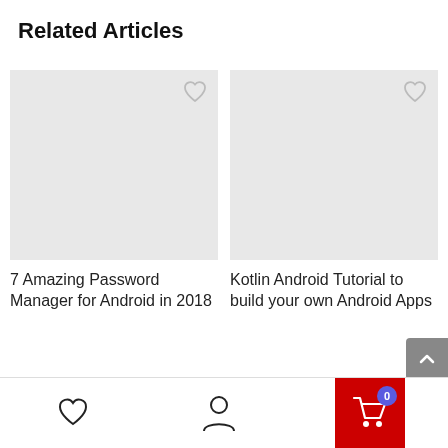Related Articles
[Figure (screenshot): Placeholder image for article card 1 with heart icon]
7 Amazing Password Manager for Android in 2018
[Figure (screenshot): Placeholder image for article card 2 with heart icon]
Kotlin Android Tutorial to build your own Android Apps
[Figure (screenshot): Partial placeholder image for article card 3 with heart icon]
[Figure (screenshot): Partial placeholder image for article card 4 with heart icon]
Bottom navigation bar with heart, profile, and cart (0) icons